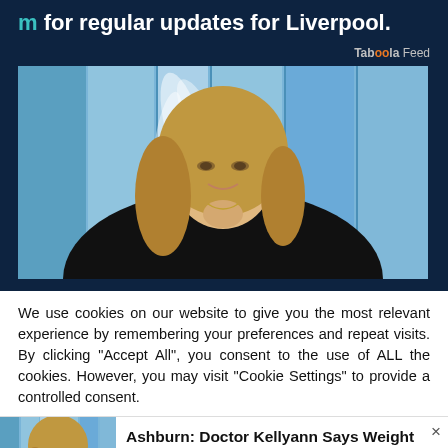m for regular updates for Liverpool.
Taboola Feed
[Figure (photo): Blonde woman in black outfit seated on a couch, smiling with hand on chin, blue panel background]
We use cookies on our website to give you the most relevant experience by remembering your preferences and repeat visits. By clicking “Accept All”, you consent to the use of ALL the cookies. However, you may visit "Cookie Settings" to provide a controlled consent.
[Figure (photo): Small thumbnail of same blonde woman in black outfit]
Ashburn: Doctor Kellyann Says Weight Loss After 60 Comes Down to This